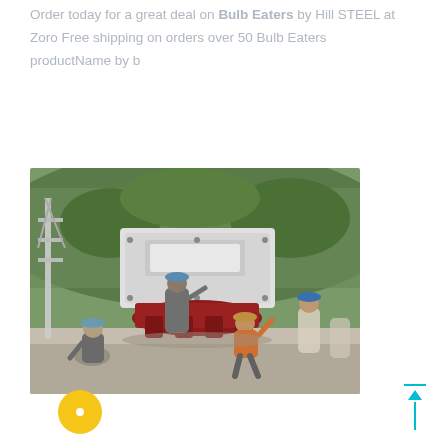Order today for a great deal on Bulb Eaters by Hill STEEL at Zoro Free shipping on orders over 50 Bulb Eaters productName by b
[Figure (photo): Workers installing or positioning a large industrial cone crusher machine at an outdoor quarry or construction site. Several workers in hard hats are guiding the heavy machinery. Green rocky hillside visible in the background.]